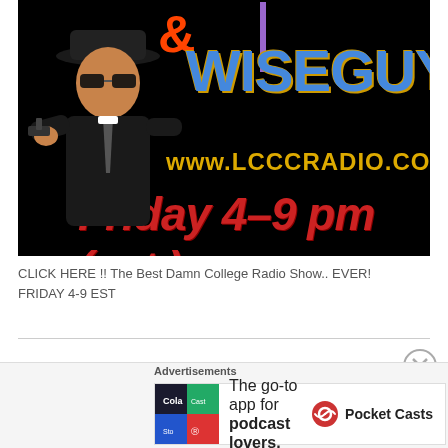[Figure (photo): Radio show promotional image on black background featuring a suited man with sunglasses and hat pointing a gun, with text '& WISEGUY', 'www.LCCCRADIO.COM', and 'Friday 4-9 pm (est.)']
CLICK HERE !! The Best Damn College Radio Show.. EVER! FRIDAY 4-9 EST
[Figure (other): Advertisement banner: 'The go-to app for podcast lovers. Pocket Casts' with colorful app icon]